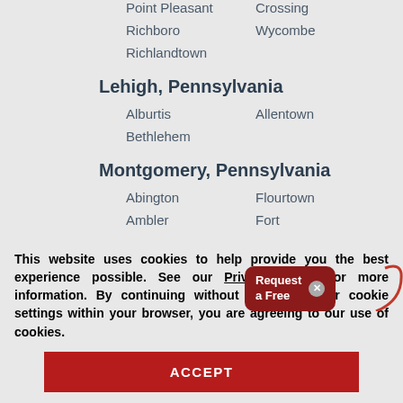Point Pleasant
Crossing
Richboro
Wycombe
Richlandtown
Lehigh, Pennsylvania
Alburtis
Allentown
Bethlehem
Montgomery, Pennsylvania
Abington
Flourtown
Ambler
Fort
This website uses cookies to help provide you the best experience possible. See our Privacy Policy for more information. By continuing without changing your cookie settings within your browser, you are agreeing to our use of cookies.
ACCEPT